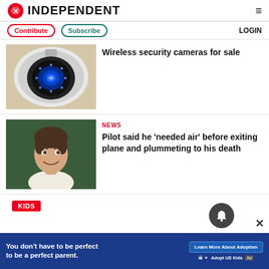INDEPENDENT
Contribute | Subscribe | LOGIN
[Figure (photo): Dome security camera mounted on ceiling, blue LED lights visible]
Wireless security cameras for sale
NEWS
[Figure (photo): Young man smiling, headshot photo against green background]
Pilot said he 'needed air' before exiting plane and plummeting to his death
KIDS
[Figure (screenshot): Advertisement: You don't have to be perfect to be a perfect parent. Learn More About Adoption. Adopt US Kids.]